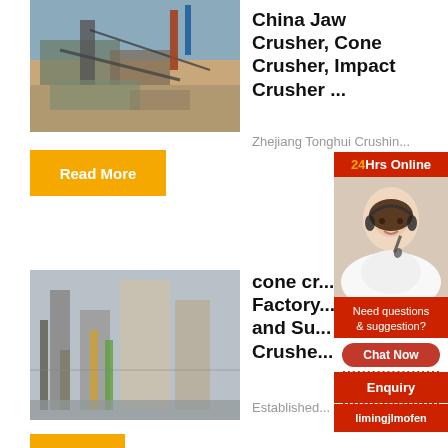[Figure (photo): Industrial jaw crusher / mining equipment facility with mountains in background]
China Jaw Crusher, Cone Crusher, Impact Crusher ...
Zhejiang Tonghui Crushin...
Read More
[Figure (photo): Industrial factory/plant with silos and scaffolding]
cone cr... Factory... and Su... Crushe...
Established...
[Figure (infographic): 24Hrs Online chat widget with customer service representative, Need questions & suggestion, Chat Now, Enquiry, limingjlmofen]
limingjlmofen